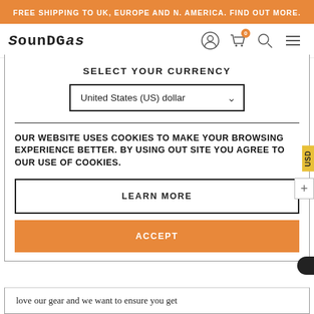FREE SHIPPING TO UK, EUROPE AND N. AMERICA. FIND OUT MORE.
[Figure (logo): SoundGas logo with stylized text and navigation icons (user, cart with badge 0, search, menu)]
SELECT YOUR CURRENCY
United States (US) dollar
OUR WEBSITE USES COOKIES TO MAKE YOUR BROWSING EXPERIENCE BETTER. BY USING OUT SITE YOU AGREE TO OUR USE OF COOKIES.
LEARN MORE
ACCEPT
love our gear and we want to ensure you get